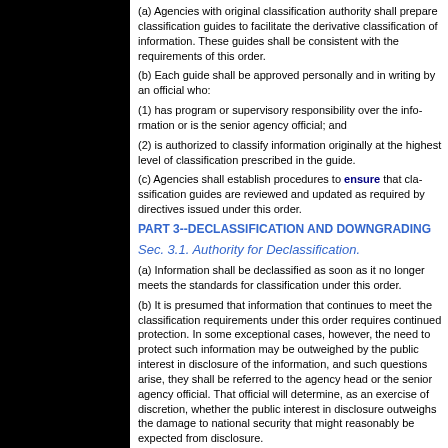(a) Agencies with original classification authority shall prepare classification guides to facilitate the derivative classification of information. These guides shall be consistent with the requirements of this order.
(b) Each guide shall be approved personally and in writing by an official who:
(1) has program or supervisory responsibility over the information or is the senior agency official; and
(2) is authorized to classify information originally at the highest level of classification prescribed in the guide.
(c) Agencies shall establish procedures to ensure that classification guides are reviewed and updated as required by directives issued under this order.
PART 3--DECLASSIFICATION AND DOWNGRADING
Sec. 3.1. Authority for Declassification.
(a) Information shall be declassified as soon as it no longer meets the standards for classification under this order.
(b) It is presumed that information that continues to meet the classification requirements under this order requires continued protection. In some exceptional cases, however, the need to protect such information may be outweighed by the public interest in disclosure of the information, and in these cases the information should be declassified. When such questions arise, they shall be referred to the agency head or the senior agency official. That official will determine, as an exercise of discretion, whether the public interest in disclosure outweighs the damage to national security that might reasonably be expected from disclosure.
(1) amplify or modify the substantive criteria or procedures for classification;
(2) create any substantive or procedural rights subject to judicial review.
(c) If the Director of the Information Security Oversight Office determines that information is classified in violation of this order, the Director may require the information to be declassified by the agency that originated the classification. Any such decision by the Director may be appealed to the President through the Assistant to the President for National Security Affairs. The information shall remain classified pending a prompt decision on the appeal.
(d) The provisions of this section shall also apply to agencies that, under the terms of this order, do not have original classification authority, but had such authority under predecessor orders.